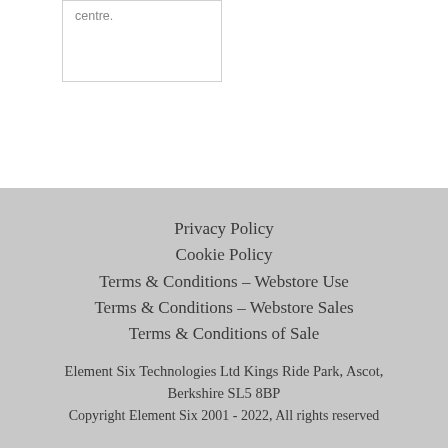centre.
Privacy Policy
Cookie Policy
Terms & Conditions – Webstore Use
Terms & Conditions – Webstore Sales
Terms & Conditions of Sale
Element Six Technologies Ltd Kings Ride Park, Ascot, Berkshire SL5 8BP
Copyright Element Six 2001 - 2022, All rights reserved